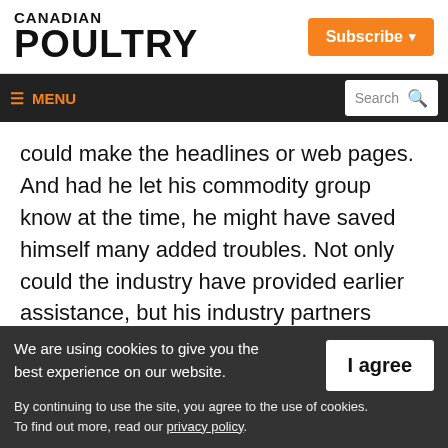CANADIAN POULTRY | Subscribe
≡ MENU | Search
could make the headlines or web pages. And had he let his commodity group know at the time, he might have saved himself many added troubles. Not only could the industry have provided earlier assistance, but his industry partners would have also been better
We are using cookies to give you the best experience on our website.
By continuing to use the site, you agree to the use of cookies. To find out more, read our privacy policy.